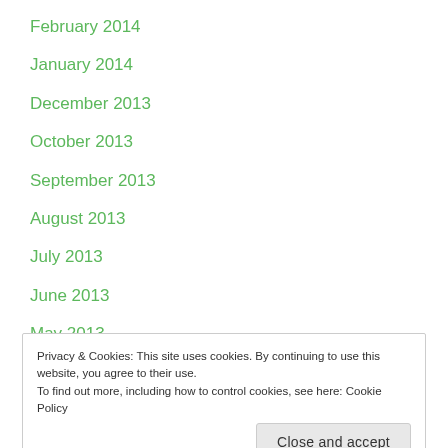February 2014
January 2014
December 2013
October 2013
September 2013
August 2013
July 2013
June 2013
May 2013
April 2013
March 2013
February 2013
Privacy & Cookies: This site uses cookies. By continuing to use this website, you agree to their use.
To find out more, including how to control cookies, see here: Cookie Policy
Close and accept
August 2012